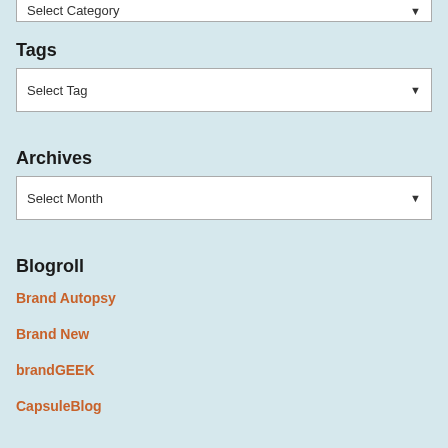[Figure (screenshot): Top cropped dropdown selector bar showing 'Select Category' text with arrow]
Tags
[Figure (screenshot): Dropdown selector labeled 'Select Tag' with arrow]
Archives
[Figure (screenshot): Dropdown selector labeled 'Select Month' with arrow]
Blogroll
Brand Autopsy
Brand New
brandGEEK
CapsuleBlog